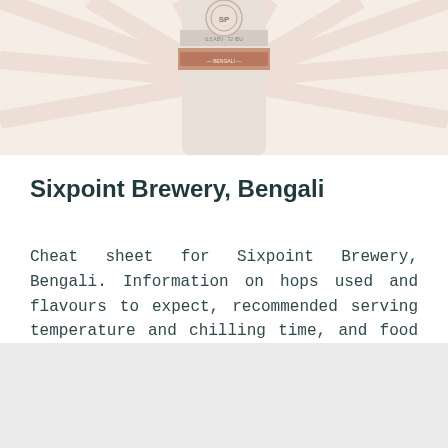[Figure (photo): Top portion of a beer can from Sixpoint Brewery against a light peach/cream radiating sunburst background. The can shows partial label text and branding details.]
Sixpoint Brewery, Bengali
Cheat sheet for Sixpoint Brewery, Bengali. Information on hops used and flavours to expect, recommended serving temperature and chilling time, and food pairing ideas. Plus information on Sixpoint Brewery and where to go to learn more about this beer.
[Figure (other): Gray/light background rectangle at the bottom of the page, appearing to be the top of another section or image block.]